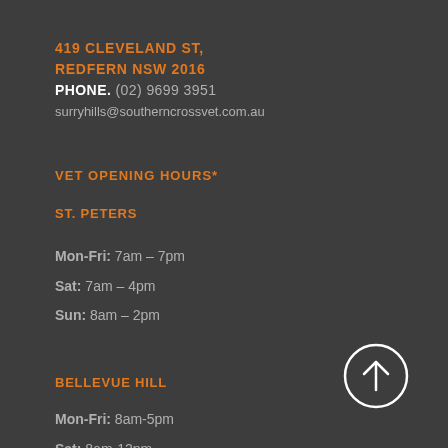419 CLEVELAND ST, REDFERN NSW 2016
PHONE. (02) 9699 3951
surryhills@southerncrossvet.com.au
VET OPENING HOURS*
ST. PETERS
Mon-Fri: 7am – 7pm
Sat: 7am – 4pm
Sun: 8am – 2pm
BELLEVUE HILL
Mon-Fri: 8am-5pm
Sat: 8am-12pm